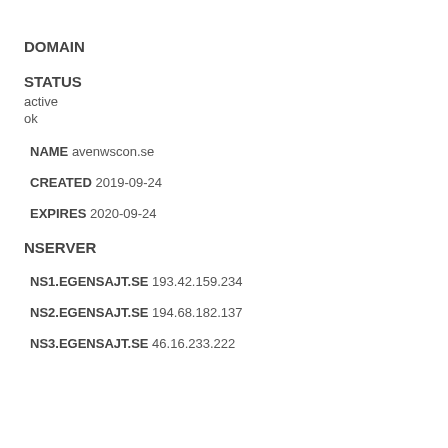DOMAIN
STATUS
active
ok
NAME avenwscon.se
CREATED 2019-09-24
EXPIRES 2020-09-24
NSERVER
NS1.EGENSAJT.SE 193.42.159.234
NS2.EGENSAJT.SE 194.68.182.137
NS3.EGENSAJT.SE 46.16.233.222